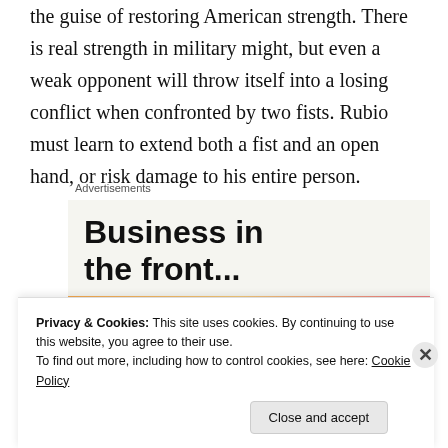the guise of restoring American strength. There is real strength in military might, but even a weak opponent will throw itself into a losing conflict when confronted by two fists. Rubio must learn to extend both a fist and an open hand, or risk damage to his entire person.
Advertisements
[Figure (screenshot): Advertisement banner showing 'Business in the front...' text on light background, with WordPress branding on a colorful orange-pink gradient.]
Privacy & Cookies: This site uses cookies. By continuing to use this website, you agree to their use.
To find out more, including how to control cookies, see here: Cookie Policy
Close and accept